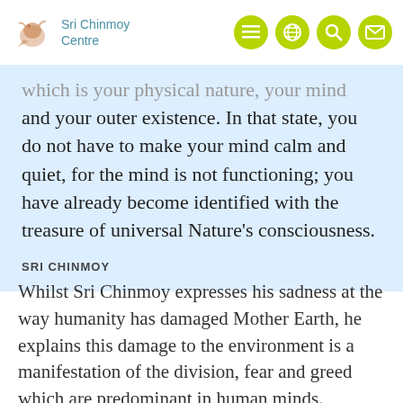Sri Chinmoy Centre
...which is your physical nature, your mind and your outer existence. In that state, you do not have to make your mind calm and quiet, for the mind is not functioning; you have already become identified with the treasure of universal Nature's consciousness.
SRI CHINMOY
Whilst Sri Chinmoy expresses his sadness at the way humanity has damaged Mother Earth, he explains this damage to the environment is a manifestation of the division, fear and greed which are predominant in human minds.
At the same time, Sri Chinmoy offers a message...